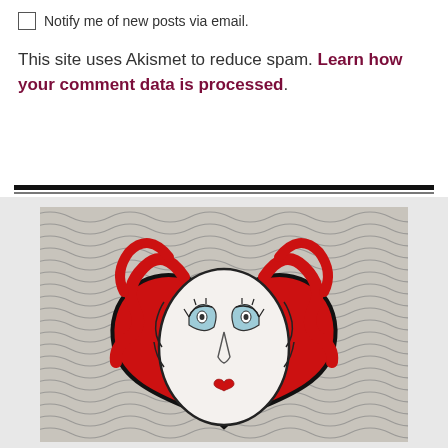Notify me of new posts via email.
This site uses Akismet to reduce spam. Learn how your comment data is processed.
[Figure (photo): Decorative cookie art: a heart-shaped red cookie with a painted face featuring blue eyelids, red curly hair, and a small red heart for a mouth, set against a textured wavy grey and white background.]